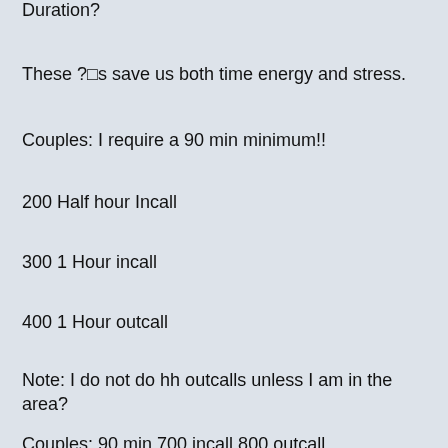Duration?
These ?□s save us both time energy and stress.
Couples: I require a 90 min minimum!!
200 Half hour Incall
300 1 Hour incall
400 1 Hour outcall
Note: I do not do hh outcalls unless I am in the area?
Couples: 90 min 700 incall 800 outcall
My Details